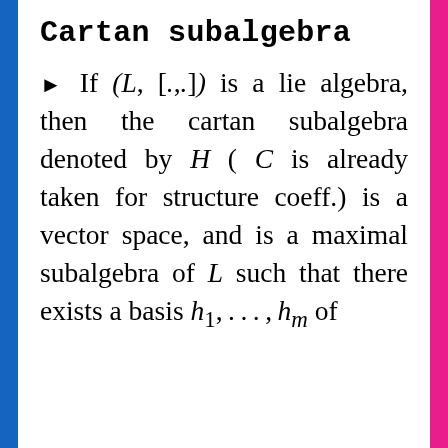Cartan subalgebra
If (L,[.,.]) is a lie algebra, then the cartan subalgebra denoted by H ( C is already taken for structure coeff.) is a vector space, and is a maximal subalgebra of L such that there exists a basis h_1,...,h_m of